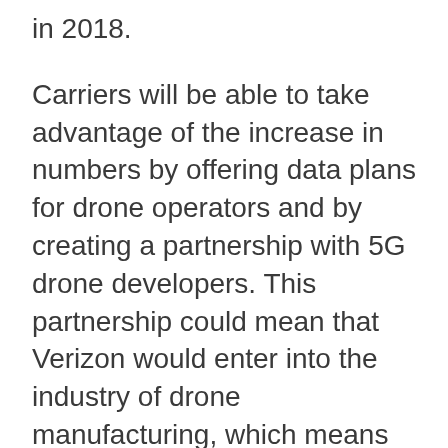in 2018.
Carriers will be able to take advantage of the increase in numbers by offering data plans for drone operators and by creating a partnership with 5G drone developers. This partnership could mean that Verizon would enter into the industry of drone manufacturing, which means they would be able to make up for stagnant smartphone sales. This could give many carriers another way to get users to connect to their network without buying a smartphone.